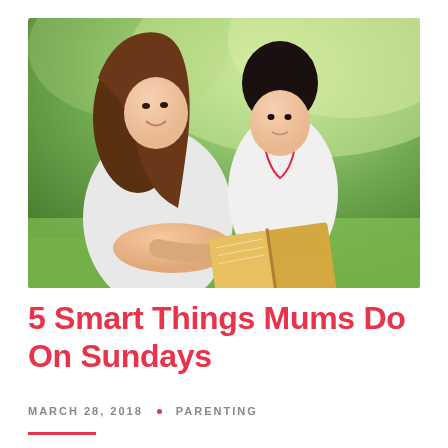[Figure (photo): A mother and young daughter reading a book together outdoors on green grass, with a blurred green tree background. The mother leans over pointing at the book while the girl looks down at it.]
5 Smart Things Mums Do On Sundays
MARCH 28, 2018 • PARENTING